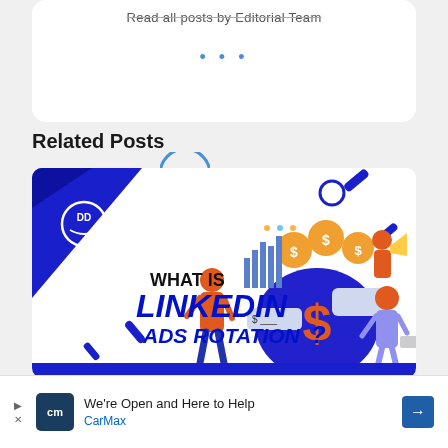Read all posts by Editorial Team
...
Related Posts
[Figure (illustration): Promotional banner image for a blog post titled 'What is LinkedIn Ads Rotation?' featuring bold blue text, decorative geometric shapes, and an illustration of people with a large money bag and dollar signs, with a DD logo in the top left corner.]
We're Open and Here to Help CarMax